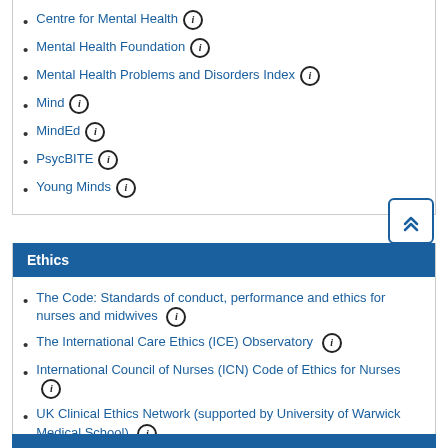Centre for Mental Health
Mental Health Foundation
Mental Health Problems and Disorders Index
Mind
MindEd
PsycBITE
Young Minds
Ethics
The Code: Standards of conduct, performance and ethics for nurses and midwives
The International Care Ethics (ICE) Observatory
International Council of Nurses (ICN) Code of Ethics for Nurses
UK Clinical Ethics Network (supported by University of Warwick Medical School)